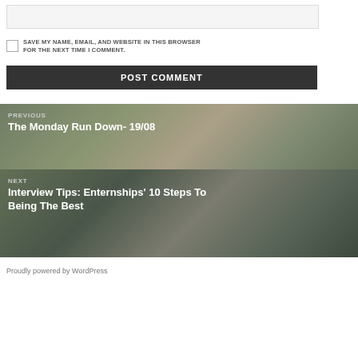[Figure (other): Website input text field (form element)]
SAVE MY NAME, EMAIL, AND WEBSITE IN THIS BROWSER FOR THE NEXT TIME I COMMENT.
POST COMMENT
[Figure (photo): Previous post navigation block with cat photo background, labeled PREVIOUS, title: The Monday Run Down- 19/08]
[Figure (photo): Next post navigation block with animal photo background, labeled NEXT, title: Interview Tips: Enternships' 10 Steps To Being The Best]
Proudly powered by WordPress